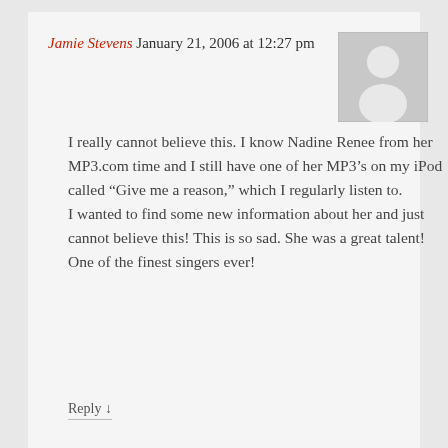Jamie Stevens January 21, 2006 at 12:27 pm
[Figure (illustration): Default avatar placeholder — grey square with a white silhouette of a person]
I really cannot believe this. I know Nadine Renee from her MP3.com time and I still have one of her MP3’s on my iPod called “Give me a reason,” which I regularly listen to. I wanted to find some new information about her and just cannot believe this! This is so sad. She was a great talent! One of the finest singers ever!
Reply ↓